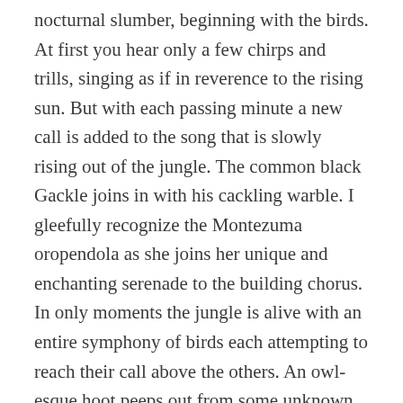nocturnal slumber, beginning with the birds. At first you hear only a few chirps and trills, singing as if in reverence to the rising sun. But with each passing minute a new call is added to the song that is slowly rising out of the jungle. The common black Gackle joins in with his cackling warble. I gleefully recognize the Montezuma oropendola as she joins her unique and enchanting serenade to the building chorus. In only moments the jungle is alive with an entire symphony of birds each attempting to reach their call above the others. An owl-esque hoot peeps out from some unknown bird. The dark and terrifying howl of the howler monkey joins the chaos of sounds. The deep strange screams, miles away, penetrate through the thick jungle foliage, becoming an incessant hum in the background, as if cursing the sun for waking them from their slumber. The apex of the chorus crests as the roosters double their efforts as the